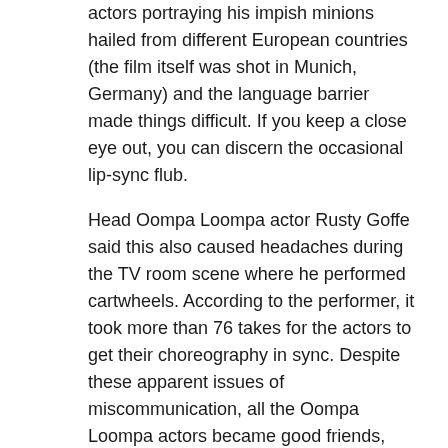actors portraying his impish minions hailed from different European countries (the film itself was shot in Munich, Germany) and the language barrier made things difficult. If you keep a close eye out, you can discern the occasional lip-sync flub.
Head Oompa Loompa actor Rusty Goffe said this also caused headaches during the TV room scene where he performed cartwheels. According to the performer, it took more than 76 takes for the actors to get their choreography in sync. Despite these apparent issues of miscommunication, all the Oompa Loompa actors became good friends, and enjoyed a night of drinking and playing practical jokes on the cast and crew, including stealing everyone's shoes and tying all the laces together.
10 The Oompa Loompa's Appearance Was Changed to Avoid Charges of Racism